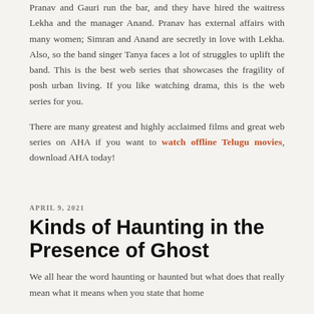Pranav and Gauri run the bar, and they have hired the waitress Lekha and the manager Anand. Pranav has external affairs with many women; Simran and Anand are secretly in love with Lekha. Also, so the band singer Tanya faces a lot of struggles to uplift the band. This is the best web series that showcases the fragility of posh urban living. If you like watching drama, this is the web series for you.
There are many greatest and highly acclaimed films and great web series on AHA if you want to watch offline Telugu movies, download AHA today!
APRIL 9, 2021
Kinds of Haunting in the Presence of Ghost
We all hear the word haunting or haunted but what does that really mean what it means when you state that home